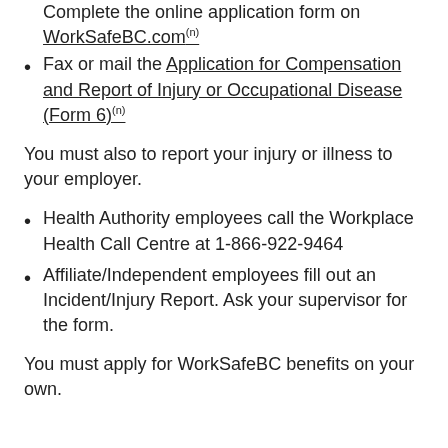Complete the online application form on WorkSafeBC.com (link)
Fax or mail the Application for Compensation and Report of Injury or Occupational Disease (Form 6) (link)
You must also to report your injury or illness to your employer.
Health Authority employees call the Workplace Health Call Centre at 1-866-922-9464
Affiliate/Independent employees fill out an Incident/Injury Report. Ask your supervisor for the form.
You must apply for WorkSafeBC benefits on your own.